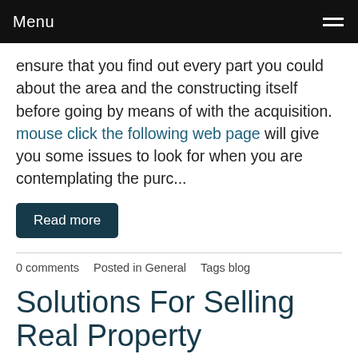Menu
ensure that you find out every part you could about the area and the constructing itself before going by means of with the acquisition. mouse click the following web page will give you some issues to look for when you are contemplating the purc...
Read more
0 comments   Posted in General   Tags blog
Solutions For Selling Real Property
December 9, 2020